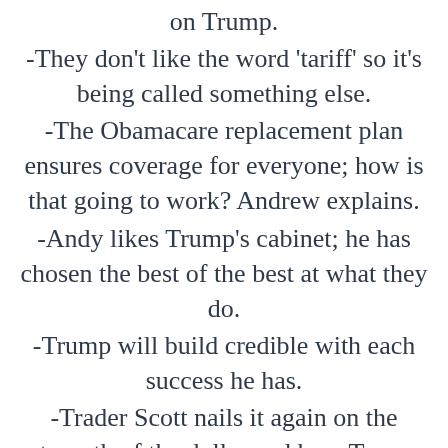on Trump.
-They don’t like the word ‘tariff’ so it’s being called something else.
-The Obamacare replacement plan ensures coverage for everyone; how is that going to work? Andrew explains.
-Andy likes Trump’s cabinet; he has chosen the best of the best at what they do.
-Trump will build credible with each success he has.
-Trader Scott nails it again on the strength of the dollar and how Trump